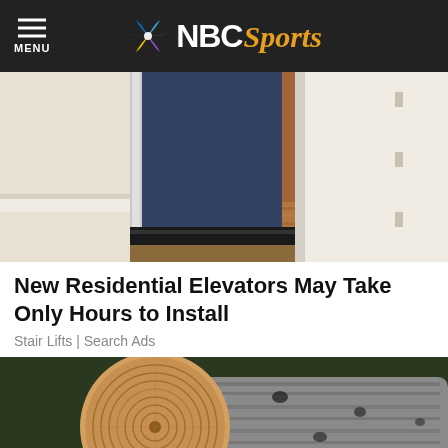NBC Sports
[Figure (photo): Interior photo showing a residential elevator installed between two doorways, with hardwood flooring visible]
New Residential Elevators May Take Only Hours to Install
Stair Lifts | Search Ads
[Figure (photo): Outdoor photo of a cut log/tree trunk with wood grain rings visible, lying in sandy ground with trees in background]